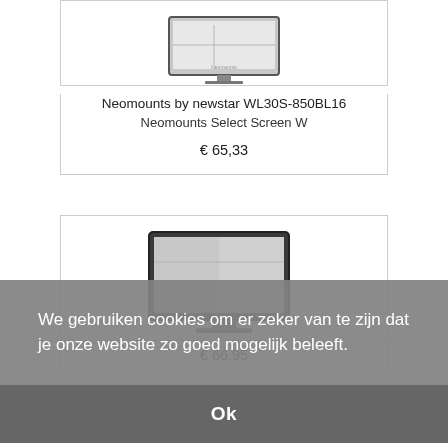[Figure (illustration): Product image of Neomounts WL30S-850BL16 wall mount, flat panel screen viewed from front angle, dark frame]
Neomounts by newstar WL30S-850BL16
Neomounts Select Screen W
€ 65,33
[Figure (illustration): Product image of second Neomounts mount, flat panel monitor with stand, dark silver frame]
€ 66,95
We gebruiken cookies om er zeker van te zijn dat je onze website zo goed mogelijk beleeft.
Ok